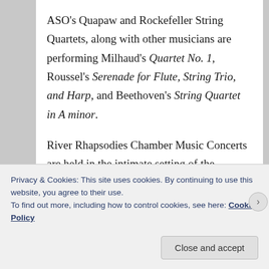ASO's Quapaw and Rockefeller String Quartets, along with other musicians are performing Milhaud's Quartet No. 1, Roussel's Serenade for Flute, String Trio, and Harp, and Beethoven's String Quartet in A minor.
River Rhapsodies Chamber Music Concerts are held in the intimate setting of the Clinton Presidential Center's Great Hall. A cash bar is open before the concert and at intermission, and patrons are invited to carry drinks into the concert. The Media Sponsor for the River Rhapsodies Chamber Music Series is UA Little Rock Public Radio.
Privacy & Cookies: This site uses cookies. By continuing to use this website, you agree to their use.
To find out more, including how to control cookies, see here: Cookie Policy